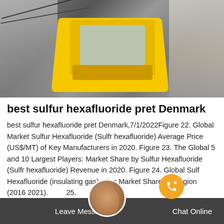[Figure (photo): Aerial/top-down view of a yellow construction truck or crane vehicle, surrounded by gray industrial background with wires and machinery visible.]
best sulfur hexafluoride pret Denmark
best sulfur hexafluoride pret Denmark,7/1/2022Figure 22. Global Market Sulfur Hexafluoride (Sulfr hexafluoride) Average Price (US$/MT) of Key Manufacturers in 2020. Figure 23. The Global 5 and 10 Largest Players: Market Share by Sulfur Hexafluoride (Sulfr hexafluoride) Revenue in 2020. Figure 24. Global Sulfur Hexafluoride (insulating gas) Production Market Share by Region (2016-2021). Figure 25.
Leave Message   Chat Online